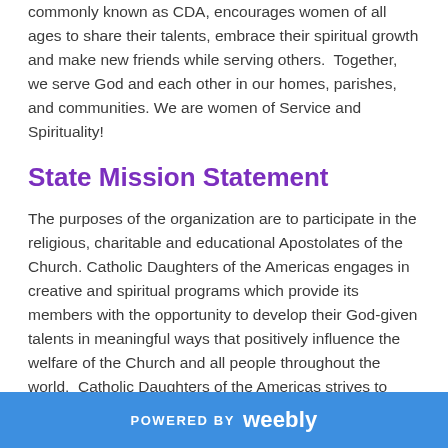commonly known as CDA, encourages women of all ages to share their talents, embrace their spiritual growth and make new friends while serving others. Together, we serve God and each other in our homes, parishes, and communities. We are women of Service and Spirituality!
State Mission Statement
The purposes of the organization are to participate in the religious, charitable and educational Apostolates of the Church. Catholic Daughters of the Americas engages in creative and spiritual programs which provide its members with the opportunity to develop their God-given talents in meaningful ways that positively influence the welfare of the Church and all people throughout the world. Catholic Daughters of the Americas strives to embrace the principle of faith working through
POWERED BY weebly